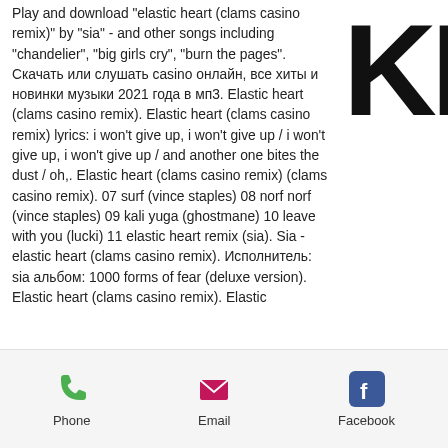Play and download "elastic heart (clams casino remix)" by "sia" - and other songs including "chandelier", "big girls cry", "burn the pages". Скачать или слушать casino онлайн, все хиты и новинки музыки 2021 года в мп3. Elastic heart (clams casino remix). Elastic heart (clams casino remix) lyrics: i won't give up, i won't give up / i won't give up, i won't give up / and another one bites the dust / oh,. Elastic heart (clams casino remix) (clams casino remix). 07 surf (vince staples) 08 norf norf (vince staples) 09 kali yuga (ghostmane) 10 leave with you (lucki) 11 elastic heart remix (sia). Sia - elastic heart (clams casino remix). Исполнитель: sia альбом: 1000 forms of fear (deluxe version). Elastic heart (clams casino remix). Elastic
[Figure (logo): Large bold letters KE in black, cropped at top-right corner]
Phone   Email   Facebook